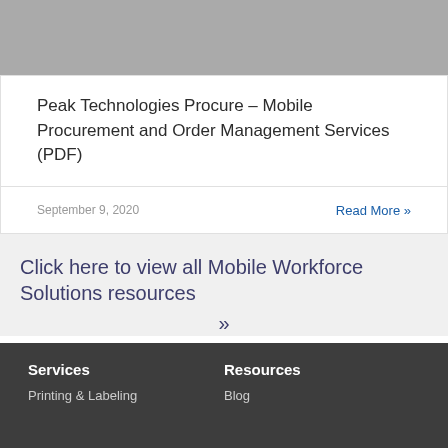[Figure (photo): Gray image placeholder block at the top of the page]
Peak Technologies Procure – Mobile Procurement and Order Management Services (PDF)
September 9, 2020
Read More »
Click here to view all Mobile Workforce Solutions resources »
Services
Resources
Printing & Labeling
Blog